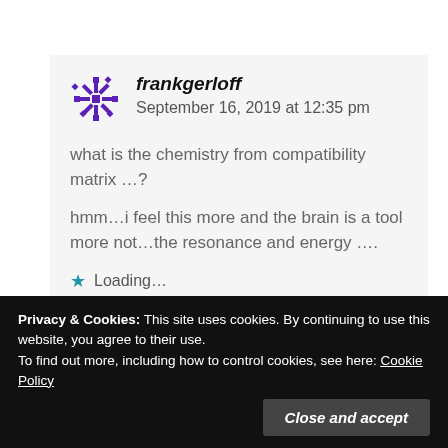frankgerloff  September 16, 2019 at 12:35 pm
what is the chemistry from compatibility matrix ...?
hmm...i feel this more and the brain is a tool more not...the resonance and energy ....
Loading...
Reply
Privacy & Cookies: This site uses cookies. By continuing to use this website, you agree to their use.
To find out more, including how to control cookies, see here: Cookie Policy
Close and accept
hello webmaster ...can you please delete and